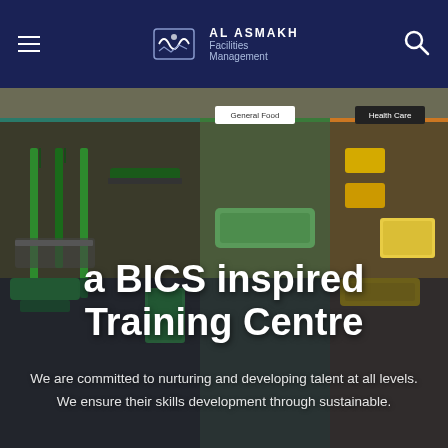AL ASMAKH Facilities Management
[Figure (photo): A photo of a BICS-inspired cleaning tools training board with color-coded sections including 'General Food' and 'Health Care' labels. Various cleaning tools such as mops, brushes, and squeegees are mounted on the board.]
a BICS inspired Training Centre
We are committed to nurturing and developing talent at all levels. We ensure their skills development through sustainable.